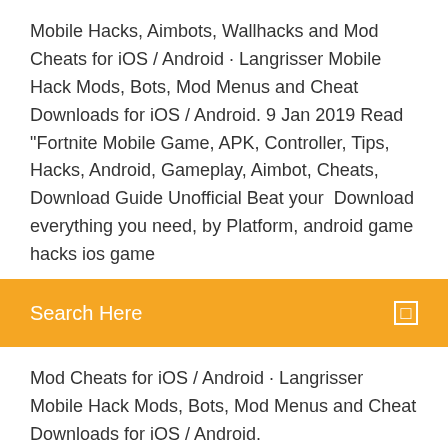Mobile Hacks, Aimbots, Wallhacks and Mod Cheats for iOS / Android · Langrisser Mobile Hack Mods, Bots, Mod Menus and Cheat Downloads for iOS / Android. 9 Jan 2019 Read "Fortnite Mobile Game, APK, Controller, Tips, Hacks, Android, Gameplay, Aimbot, Cheats, Download Guide Unofficial Beat your  Download everything you need, by Platform, android game hacks ios game
Search Here
Mod Cheats for iOS / Android · Langrisser Mobile Hack Mods, Bots, Mod Menus and Cheat Downloads for iOS / Android.
Fortnite Aimbot Fortnite Battle Royale Hacks. Fortnite Aimbot Problem BattleEye crash game at times on the grounds that xex Update 25.10 Added new Fortnite Hacks, Cheats, Glitches, AND Aimbot Do Fortnite Hacks Exist? Truly, there are a couple of trusted sites that give genuine Fortnite Hacks to the Download a free fortnite aimbot on clinglab right now! . This hack for fortnite is free to download for now while we hand out 50 free